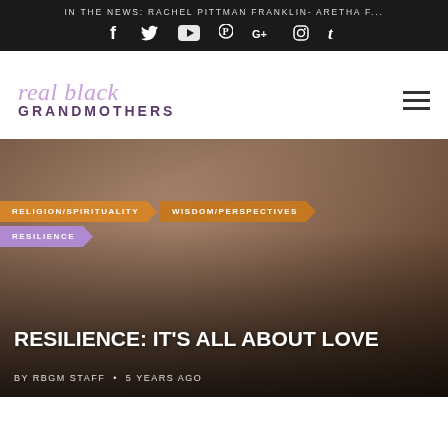IN THE NEWS: RACHEL PITTMAN FRANKLIN- ARETHA F...
[Figure (screenshot): Social media icons row: Facebook, Twitter, YouTube, Pinterest, Google+, Instagram, Tumblr on black background]
[Figure (logo): Real Black Grandmothers logo - script text 'real black' in lavender and 'GRANDMOTHERS' in bold purple/dark]
RELIGION/SPIRITUALITY
WISDOM/PERSPECTIVES
RESILIENCE
RESILIENCE: IT'S ALL ABOUT LOVE
BY RBGM STAFF • 5 YEARS AGO
[Figure (photo): A grandmother sitting with children on a couch, smiling, in a warm family scene]